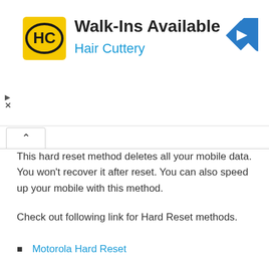[Figure (advertisement): Hair Cuttery advertisement banner with logo, title 'Walk-Ins Available', subtitle 'Hair Cuttery', and a blue navigation arrow icon in the top right.]
This hard reset method deletes all your mobile data. You won’t recover it after reset. You can also speed up your mobile with this method.
Check out following link for Hard Reset methods.
Motorola Hard Reset